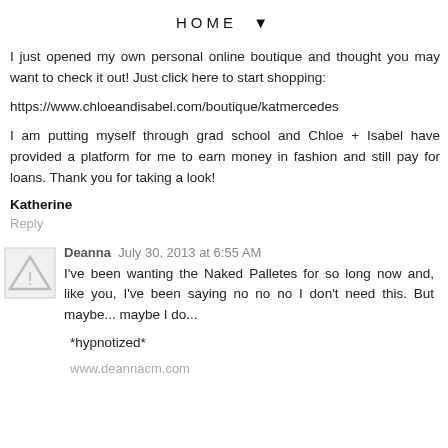HOME ▼
I just opened my own personal online boutique and thought you may want to check it out! Just click here to start shopping:
https://www.chloeandisabel.com/boutique/katmercedes
I am putting myself through grad school and Chloe + Isabel have provided a platform for me to earn money in fashion and still pay for loans. Thank you for taking a look!
Katherine
Reply
Deanna  July 30, 2013 at 6:55 AM
I've been wanting the Naked Palletes for so long now and, like you, I've been saying no no no I don't need this. But maybe... maybe I do...
*hypnotized*
www.deannacm.com